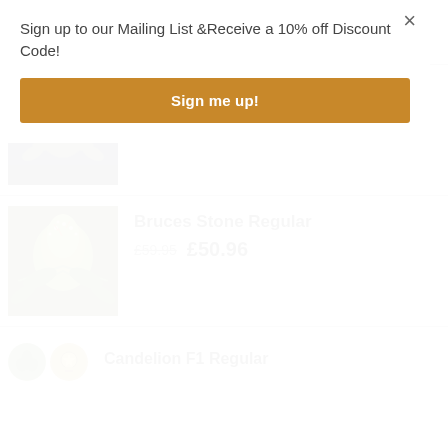Sign up to our Mailing List &Receive a 10% off Discount Code!
Sign me up!
[Figure (photo): Partial cannabis product image at top of list]
Bosscotti Regular
£79.95  £67.96
[Figure (photo): Cannabis flower photo for Bosscotti Regular product]
Bruces Stone Regular
£59.95  £50.96
[Figure (photo): Cannabis flower photo for Bruces Stone Regular product]
Candelion F1 Regular